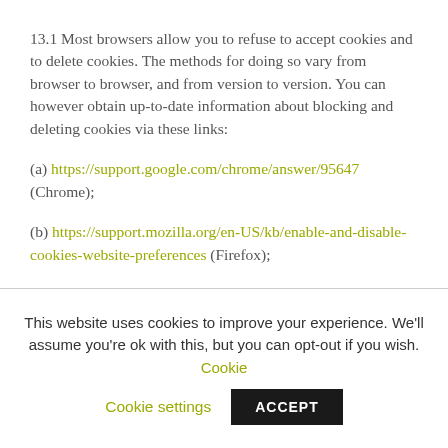13.1 Most browsers allow you to refuse to accept cookies and to delete cookies. The methods for doing so vary from browser to browser, and from version to version. You can however obtain up-to-date information about blocking and deleting cookies via these links:
(a) https://support.google.com/chrome/answer/95647 (Chrome);
(b) https://support.mozilla.org/en-US/kb/enable-and-disable-cookies-website-preferences (Firefox);
(c) https://help.opera.com/en/latest/security-and-privacy/
This website uses cookies to improve your experience. We'll assume you're ok with this, but you can opt-out if you wish. Cookie settings ACCEPT